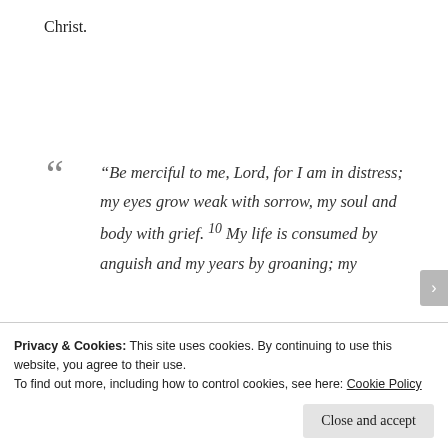Christ.
“Be merciful to me, Lord, for I am in distress; my eyes grow weak with sorrow, my soul and body with grief. 10 My life is consumed by anguish and my years by groaning; my
Privacy & Cookies: This site uses cookies. By continuing to use this website, you agree to their use.
To find out more, including how to control cookies, see here: Cookie Policy
Close and accept